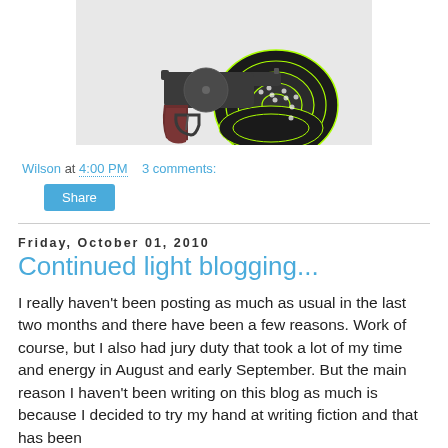[Figure (photo): Photo of a revolver handgun placed on top of two circular shooting targets with neon green rings and bullet holes in the center area.]
Wilson at 4:00 PM    3 comments:
Share
Friday, October 01, 2010
Continued light blogging...
I really haven't been posting as much as usual in the last two months and there have been a few reasons. Work of course, but I also had jury duty that took a lot of my time and energy in August and early September. But the main reason I haven't been writing on this blog as much is because I decided to try my hand at writing fiction and that has been